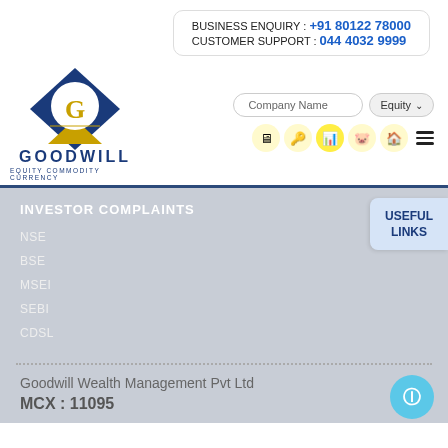BUSINESS ENQUIRY : +91 80122 78000
CUSTOMER SUPPORT : 044 4032 9999
[Figure (logo): Goodwill Wealth Management logo — blue diamond shape with gold G, triangle beneath, text GOODWILL EQUITY COMMODITY CURRENCY]
Company Name
Equity
INVESTOR COMPLAINTS
NSE
BSE
MSEI
SEBI
CDSL
USEFUL LINKS
Goodwill Wealth Management Pvt Ltd
MCX : 11095